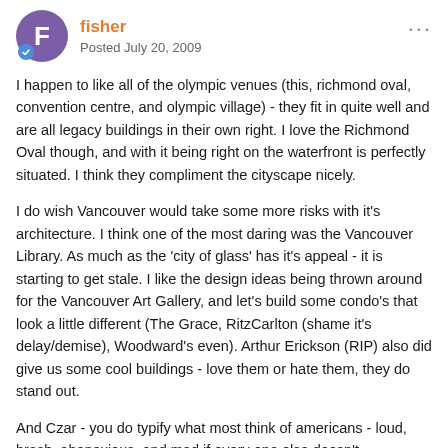fisher — Posted July 20, 2009
I happen to like all of the olympic venues (this, richmond oval, convention centre, and olympic village) - they fit in quite well and are all legacy buildings in their own right. I love the Richmond Oval though, and with it being right on the waterfront is perfectly situated. I think they compliment the cityscape nicely.
I do wish Vancouver would take some more risks with it's architecture. I think one of the most daring was the Vancouver Library. As much as the 'city of glass' has it's appeal - it is starting to get stale. I like the design ideas being thrown around for the Vancouver Art Gallery, and let's build some condo's that look a little different (The Grace, RitzCarlton (shame it's delay/demise), Woodward's even). Arthur Erickson (RIP) also did give us some cool buildings - love them or hate them, they do stand out.
And Czar - you do typify what most think of americans - loud, brash, abonoxious, and mad if every one else doesn't completely agree with your point of view. You sir are the American Sterotype. I have met many a great Yankee who dispel the myth